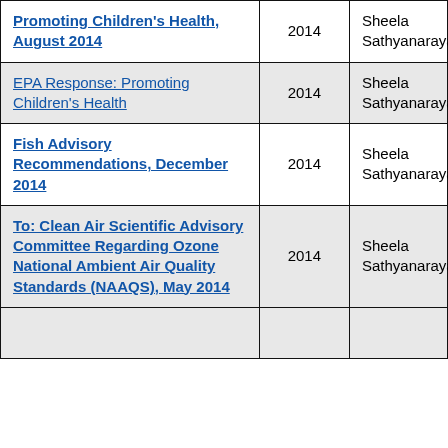| Promoting Children's Health, August 2014 | 2014 | Sheela Sathyanarayana |
| EPA Response: Promoting Children's Health | 2014 | Sheela Sathyanarayana |
| Fish Advisory Recommendations, December 2014 | 2014 | Sheela Sathyanarayana |
| To: Clean Air Scientific Advisory Committee Regarding Ozone National Ambient Air Quality Standards (NAAQS), May 2014 | 2014 | Sheela Sathyanarayana |
|  | 2014 |  |